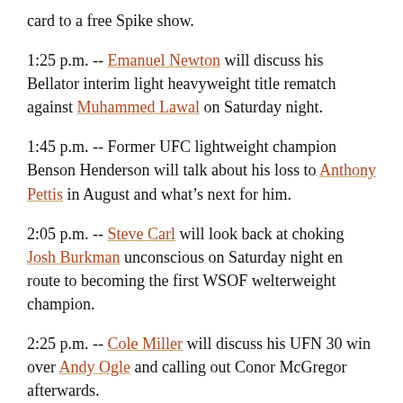card to a free Spike show.
1:25 p.m. -- Emanuel Newton will discuss his Bellator interim light heavyweight title rematch against Muhammed Lawal on Saturday night.
1:45 p.m. -- Former UFC lightweight champion Benson Henderson will talk about his loss to Anthony Pettis in August and what’s next for him.
2:05 p.m. -- Steve Carl will look back at choking Josh Burkman unconscious on Saturday night en route to becoming the first WSOF welterweight champion.
2:25 p.m. -- Cole Miller will discuss his UFN 30 win over Andy Ogle and calling out Conor McGregor afterwards.
2:45 p.m. -- Diego Sanchez will look back at his Fight of the